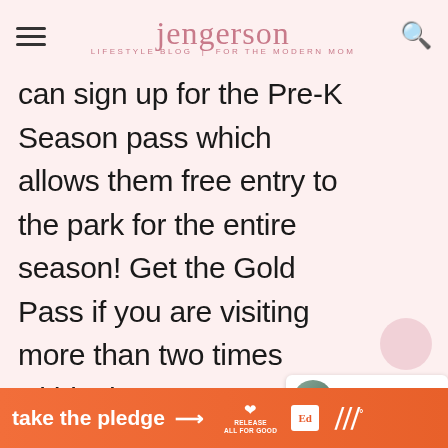Jengerson — Lifestyle Blog for the Modern Mom
can sign up for the Pre-K Season pass which allows them free entry to the park for the entire season! Get the Gold Pass if you are visiting more than two times within the season because you'll hit the break with unlimited visits to Worlds of Fun Oceans of Fun, Halloween Haunt, Great Pumpkin Fest and WinterFest,
[Figure (other): Side navigation widget with circle elements and number 7]
[Figure (other): Disney World article thumbnail card showing '16 ULTIMATE Disney Worl...']
[Figure (other): Take the pledge advertisement banner with Release and EdSurge logos]